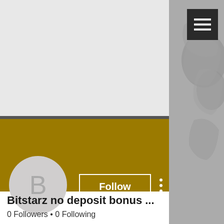[Figure (screenshot): Social media profile page screenshot showing a gray background header with hamburger menu button in top right, a world map graphic on the right side, a gold/olive colored banner section, a circular avatar with letter B, a Follow button with outline style, three-dot options menu, and profile information below.]
Bitstarz no deposit bonus ...
0 Followers • 0 Following